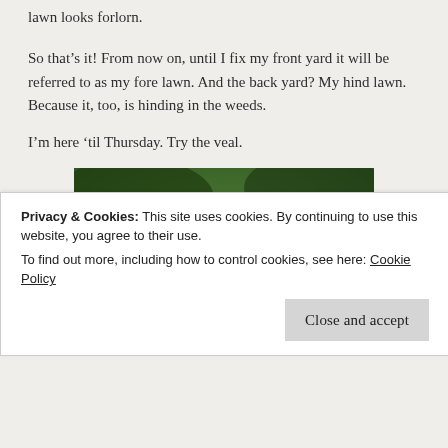lawn looks forlorn.
So that's it! From now on, until I fix my front yard it will be referred to as my fore lawn. And the back yard? My hind lawn. Because it, too, is hinding in the weeds.
I'm here 'til Thursday. Try the veal.
[Figure (photo): Stream of Consciousness Saturday #SoCS banner image with green foliage background and white text]
Privacy & Cookies: This site uses cookies. By continuing to use this website, you agree to their use.
To find out more, including how to control cookies, see here: Cookie Policy
Close and accept